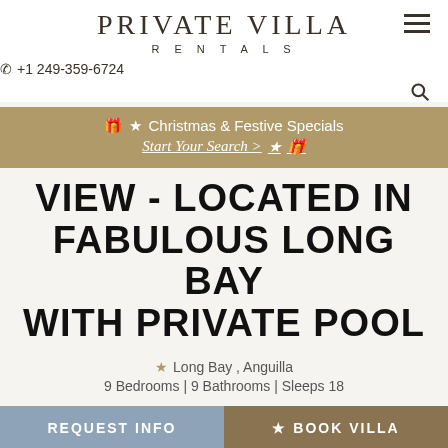PRIVATE VILLA RENTALS
+1 249-359-6724
🎁 ★ Christmas & Festive Specials Start Your Search > ★ 🎁
VIEW - LOCATED IN FABULOUS LONG BAY WITH PRIVATE POOL
★ Long Bay , Anguilla
9 Bedrooms | 9 Bathrooms | Sleeps 18
REQUEST INFO
★ BOOK VILLA